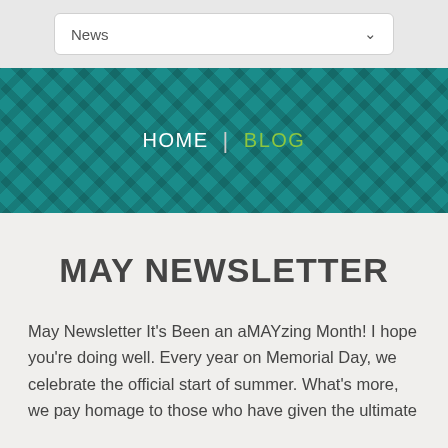News
[Figure (screenshot): Teal banner with a lattice/diamond pattern background. Navigation breadcrumb shows HOME | BLOG where HOME is white and BLOG is green.]
MAY NEWSLETTER
May Newsletter It's Been an aMAYzing Month! I hope you're doing well. Every year on Memorial Day, we celebrate the official start of summer. What's more, we pay homage to those who have given the ultimate